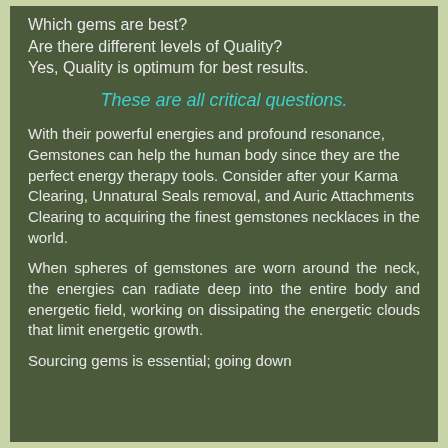Which gems are best?
Are there different levels of Quality?
Yes, Quality is optimum for best results.
These are all critical questions.
With their powerful energies and profound resonance, Gemstones can help the human body since they are the perfect energy therapy tools. Consider after your Karma Clearing, Unnatural Seals removal, and Auric Attachments Clearing to acquiring the finest gemstones necklaces in the world.
When spheres of gemstones are worn around the neck, the energies can radiate deep into the entire body and energetic field, working on dissipating the energetic clouds that limit energetic growth.
Sourcing gems is essential; going down